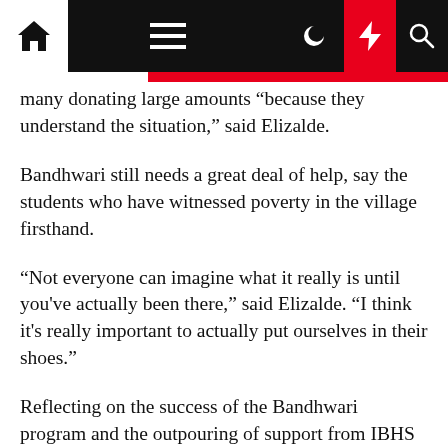Navigation bar with home, menu, dark mode, flash, and search icons
many donating large amounts “because they understand the situation,” said Elizalde.
Bandhwari still needs a great deal of help, say the students who have witnessed poverty in the village firsthand.
“Not everyone can imagine what it really is until you’ve actually been there,” said Elizalde. “I think it’s really important to actually put ourselves in their shoes.”
Reflecting on the success of the Bandhwari program and the outpouring of support from IBHS students, alumni, and friends, Wernick commented, “The magic of international service-learning is not just that it changes the lives of others – it changes you. You become aware of the wider world around you.